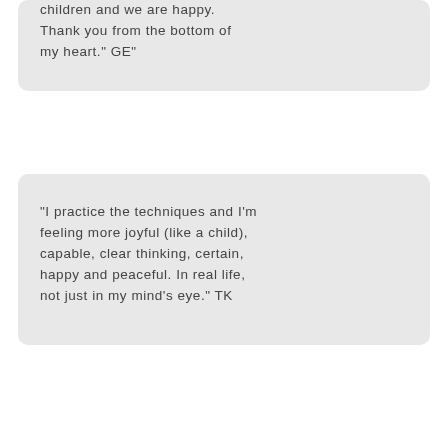children and we are happy. Thank you from the bottom of my heart." GE"
"I practice the techniques and I'm feeling more joyful (like a child), capable, clear thinking, certain, happy and peaceful. In real life, not just in my mind's eye." TK